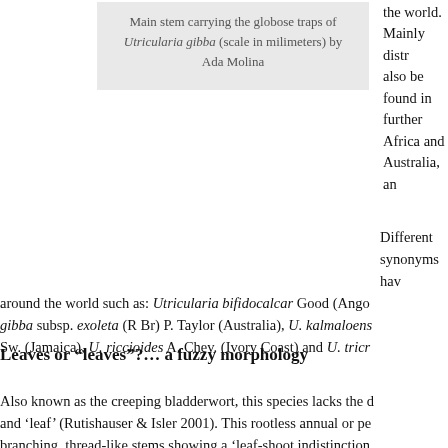Main stem carrying the globose traps of Utricularia gibba (scale in milimeters) by Ada Molina
the world. Mainly distr... also be found in further Africa and Australia, an...
Different synonyms have been used around the world such as: Utricularia bifidocalcar Good (Ango... gibba subsp. exoleta (R Br) P. Taylor (Australia), U. kalmaloens... Sw. (Jamaica), U. riccioides A. Chev. (Ivory Coast) and U. tricr...
Leaves or “leaves”?… a fuzzy morphology
Also known as the creeping bladderwort, this species lacks the d... and ‘leaf’ (Rutishauser & Isler 2001). This rootless annual or pe... branching, thread-like stems showing a ‘leaf-shoot indistinction...
Many attempts have been made to describe its leaf morphology... 2-forked” was Mason’s (1957) leaf description contribution. On (1986) and Hickman’s (1993) keys to the genus no true leaves a... green branch systems of ± linear or thread-like segments, altern...